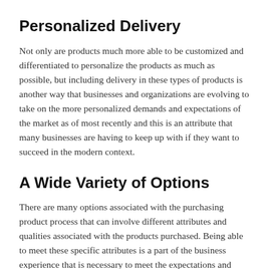Personalized Delivery
Not only are products much more able to be customized and differentiated to personalize the products as much as possible, but including delivery in these types of products is another way that businesses and organizations are evolving to take on the more personalized demands and expectations of the market as of most recently and this is an attribute that many businesses are having to keep up with if they want to succeed in the modern context.
A Wide Variety of Options
There are many options associated with the purchasing product process that can involve different attributes and qualities associated with the products purchased. Being able to meet these specific attributes is a part of the business experience that is necessary to meet the expectations and